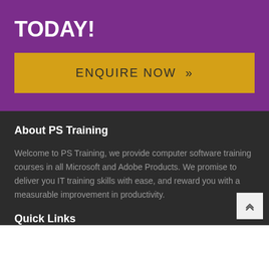TODAY!
ENQUIRE NOW »
About PS Training
Welcome to PS Training, we provide computer software training courses in all Microsoft and Adobe Products. We promise to deliver you IT training skills with ease, and reward you with a measurable improvement in productivity.
Quick Links